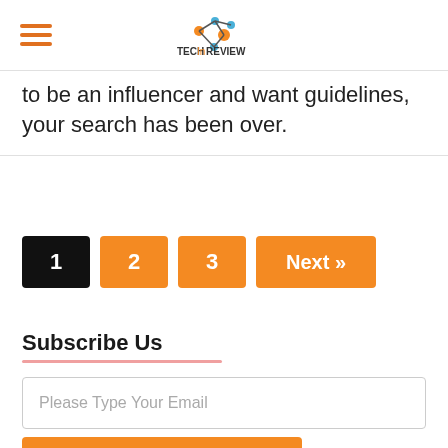Tech In Review
to be an influencer and want guidelines, your search has been over.
Page navigation: 1, 2, 3, Next »
Subscribe Us
Please Type Your Email
Subscribe